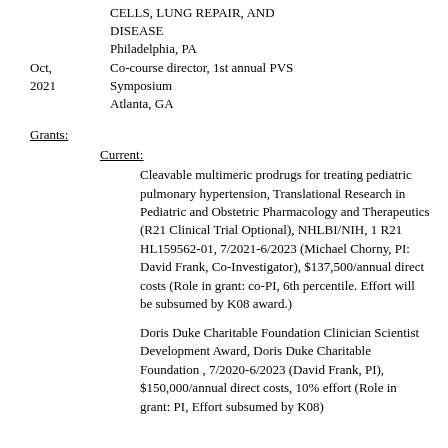CELLS, LUNG REPAIR, AND DISEASE
Philadelphia, PA
Oct, 2021	Co-course director, 1st annual PVS Symposium
Atlanta, GA
Grants:
Current:
Cleavable multimeric prodrugs for treating pediatric pulmonary hypertension, Translational Research in Pediatric and Obstetric Pharmacology and Therapeutics (R21 Clinical Trial Optional), NHLBI/NIH, 1 R21 HL159562-01, 7/2021-6/2023 (Michael Chorny, PI: David Frank, Co-Investigator), $137,500/annual direct costs (Role in grant: co-PI, 6th percentile. Effort will be subsumed by K08 award.)
Doris Duke Charitable Foundation Clinician Scientist Development Award, Doris Duke Charitable Foundation , 7/2020-6/2023 (David Frank, PI), $150,000/annual direct costs, 10% effort (Role in grant: PI, Effort subsumed by K08)